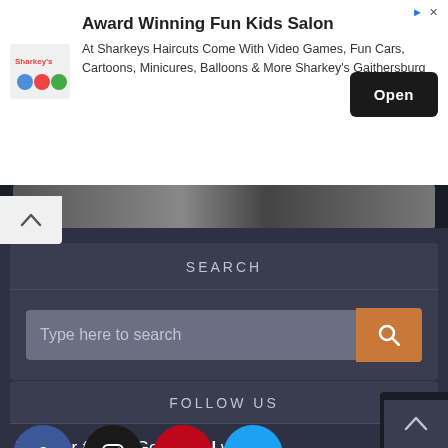[Figure (screenshot): Advertisement banner for Sharkeys Kids Salon with logo, title 'Award Winning Fun Kids Salon', body text about video games and fun activities, and an 'Open' button]
Award Winning Fun Kids Salon
At Sharkeys Haircuts Come With Video Games, Fun Cars, Cartoons, Minicures, Balloons & More Sharkey's Gaithersburg
Open
SEARCH
Type here to search
FOLLOW US
Join our family! Get social with us!